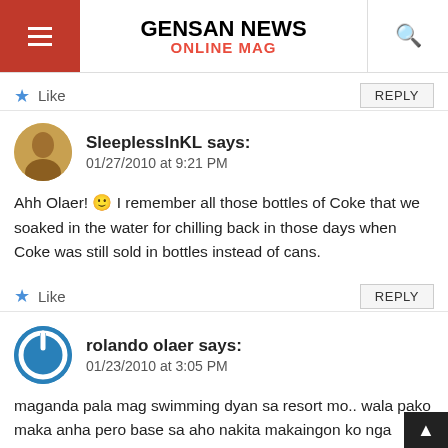GENSAN NEWS ONLINE MAG
Like
REPLY
SleeplessInKL says: 01/27/2010 at 9:21 PM
Ahh Olaer! 🙂 I remember all those bottles of Coke that we soaked in the water for chilling back in those days when Coke was still sold in bottles instead of cans.
Like
REPLY
rolando olaer says: 01/23/2010 at 3:05 PM
maganda pala mag swimming dyan sa resort mo.. wala pako maka anha pero base sa aho nakita makaingon ko nga nindot jud..This is rolando olaer taga guindulman, bohol ug nagplano me nga muanha diha s inyo resort this week.. hope nga magkailbanau ta.. kasi parihas tayo ng apelyido.. you can st